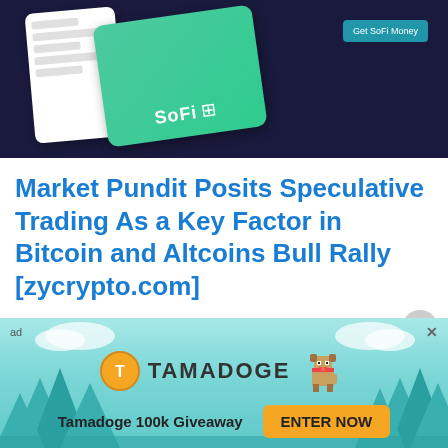[Figure (screenshot): SoFi Money promotional banner showing a phone mockup and a green SoFi debit card with a 'Get SoFi Money' button, on a dark navy background.]
Market Pundit Posits Speculative Trading As a Key Factor in Bitcoin and Altcoins Bull Rally [zycrypto.com]
“ Insane speculative trading has been the driving factor in
[Figure (infographic): Tamadoge 100k Giveaway advertisement banner with teal/cyan background, cartoon trees, Tamadoge coin logo, pixel-art dog mascot, and an orange 'ENTER NOW' button.]